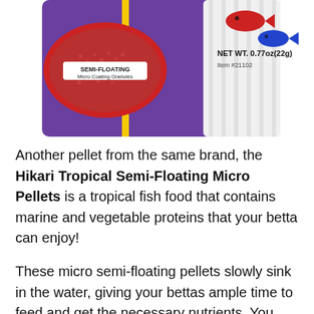[Figure (photo): Hikari Tropical Semi-Floating Micro Pellets product packaging — purple bag with red oval label reading 'SEMI-FLOATING Micro Coating Granules', NET WT. 0.77oz(22g), Item #21102, with red and blue fish graphics at top right.]
Another pellet from the same brand, the Hikari Tropical Semi-Floating Micro Pellets is a tropical fish food that contains marine and vegetable proteins that your betta can enjoy!
These micro semi-floating pellets slowly sink in the water, giving your bettas ample time to feed and get the necessary nutrients. You don't have to worry about cleaning leftovers since these colored granules are easy to see